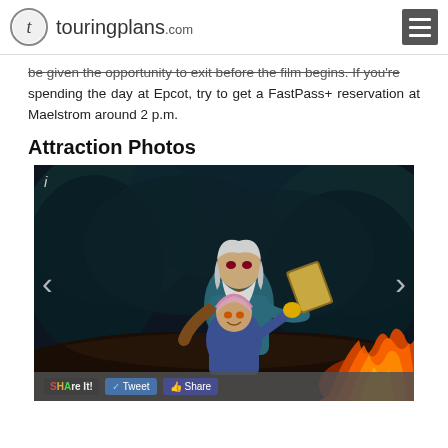touringplans.com
be given the opportunity to exit before the film begins. If you're spending the day at Epcot, try to get a FastPass+ reservation at Maelstrom around 2 p.m.
Attraction Photos
[Figure (photo): Maelstrom attraction scene at Epcot — animated Viking figures with fire in the foreground, dark forest background. Two trolls or elderly characters, one behind the other, with flames visible at bottom right. Navigation arrows and share bar overlay.]